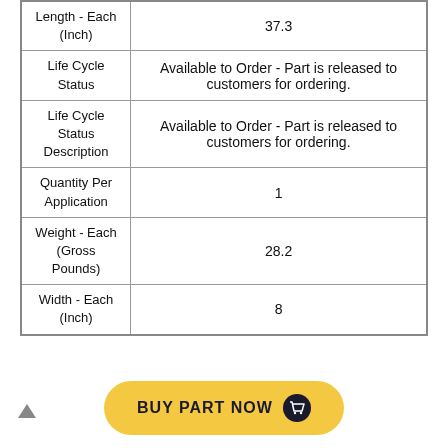| Attribute | Value |
| --- | --- |
| Length - Each (Inch) | 37.3 |
| Life Cycle Status | Available to Order - Part is released to customers for ordering. |
| Life Cycle Status Description | Available to Order - Part is released to customers for ordering. |
| Quantity Per Application | 1 |
| Weight - Each (Gross Pounds) | 28.2 |
| Width - Each (Inch) | 8 |
[Figure (other): Yellow rounded button labeled BUY PART NOW with a shopping cart icon]